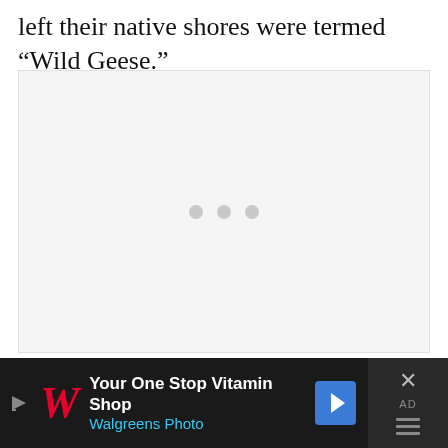left their native shores were termed “Wild Geese.”
[Figure (other): Loading placeholder with three gray dots on a light gray background]
[Figure (other): Advertisement bar for Walgreens Photo: 'Your One Stop Vitamin Shop' with Walgreens logo and navigation icon]